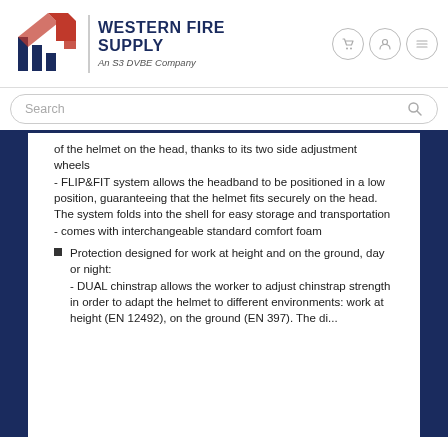WESTERN FIRE SUPPLY — An S3 DVBE Company
of the helmet on the head, thanks to its two side adjustment wheels
- FLIP&FIT system allows the headband to be positioned in a low position, guaranteeing that the helmet fits securely on the head. The system folds into the shell for easy storage and transportation
- comes with interchangeable standard comfort foam
Protection designed for work at height and on the ground, day or night:
- DUAL chinstrap allows the worker to adjust chinstrap strength in order to adapt the helmet to different environments: work at height (EN 12492), on the ground (EN 397). The di...